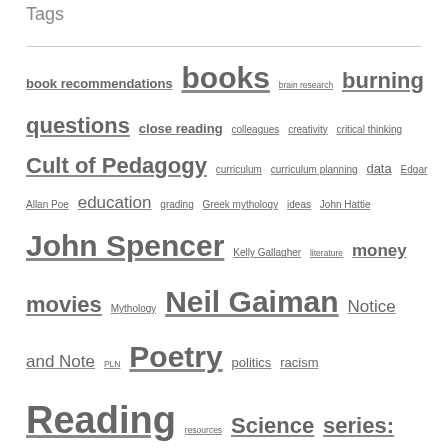Tags
book recommendations books brain research burning questions close reading colleagues creativity critical thinking Cult of Pedagogy curriculum curriculum planning data Edgar Allan Poe education grading Greek mythology ideas John Hattie John Spencer Kelly Gallagher literature money movies Mythology Neil Gaiman Notice and Note PLN Poetry politics racism Reading resources Science series: elements of structure story telling teaching Technology theme themes thinking three teachers talk WIHWT writers Writing writing prompts